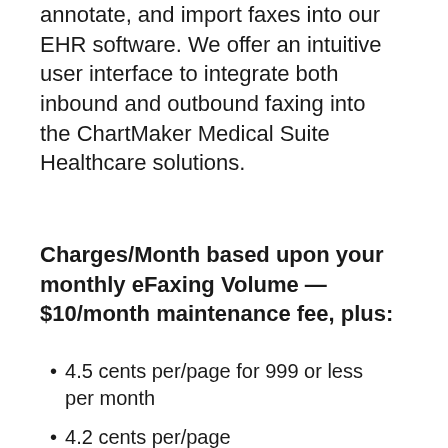annotate, and import faxes into our EHR software. We offer an intuitive user interface to integrate both inbound and outbound faxing into the ChartMaker Medical Suite Healthcare solutions.
Charges/Month based upon your monthly eFaxing Volume — $10/month maintenance fee, plus:
4.5 cents per/page for 999 or less per month
4.2 cents per/page